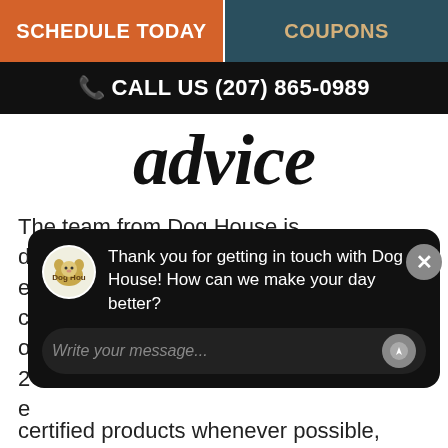SCHEDULE TODAY | COUPONS
CALL US (207) 865-0989
[Figure (screenshot): Website screenshot showing Dog House grooming/pet services page with navigation buttons 'SCHEDULE TODAY' and 'COUPONS', a call us bar, stylized italic 'advice' heading, body text about Dog House team, and a chat popup from Dog House asking 'Thank you for getting in touch with Dog House! How can we make your day better?']
The team from Dog House is dedicated to exceeding the expectations of each of our Yarmouth c... o... 2... e...
certified products whenever possible,